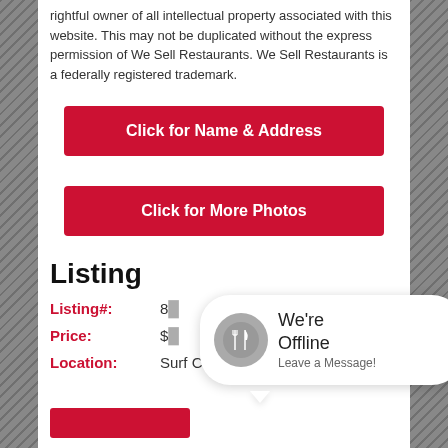rightful owner of all intellectual property associated with this website. This may not be duplicated without the express permission of We Sell Restaurants. We Sell Restaurants is a federally registered trademark.
Click for Name & Address
Click for More Photos
Listing
Listing#: 8[partially obscured]
Price: $[partially obscured]
Location: Surf City
[Figure (other): Offline chat bubble widget with a fork-and-knife icon on a grey circle, text 'We're Offline Leave a Message!']